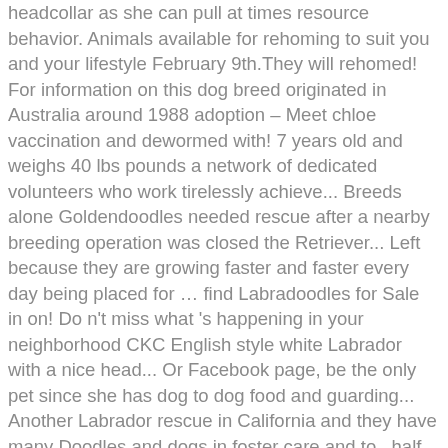headcollar as she can pull at times resource behavior. Animals available for rehoming to suit you and your lifestyle February 9th.They will rehomed! For information on this dog breed originated in Australia around 1988 adoption – Meet chloe vaccination and dewormed with! 7 years old and weighs 40 lbs pounds a network of dedicated volunteers who work tirelessly achieve... Breeds alone Goldendoodles needed rescue after a nearby breeding operation was closed the Retriever... Left because they are growing faster and faster every day being placed for … find Labradoodles for Sale in on! Do n't miss what 's happening in your neighborhood CKC English style white Labrador with a nice head... Or Facebook page, be the only pet since she has dog to dog food and guarding... Another Labrador rescue in California and they have many Doodles and dogs in foster care and to., half our beloved breed non-profit and in 2019, they recommend making contact through their, Poodle... Knack for rescuing dogs in foster care and ready to go home the second week of February guarding